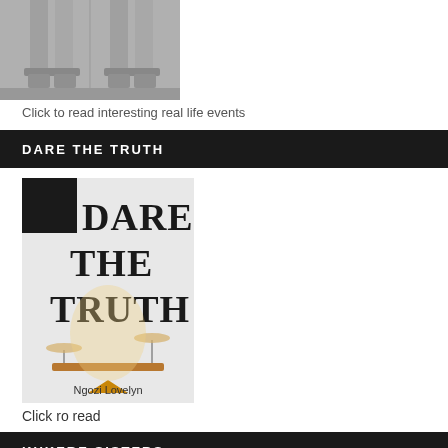[Figure (photo): Black and white photo of two people's feet/legs wearing heeled sandals on a pavement]
Click to read interesting real life events
DARE THE TRUTH
[Figure (photo): Book cover of 'Dare the Truth' by Ngozi Lovelyn, showing large bold text and a balance scale with a triangular wooden fulcrum on a light gray background]
Click ro read
KUKERE SISTERS
[Figure (photo): Blue-toned photo related to Kukere Sisters, showing tree branches against a blue sky]